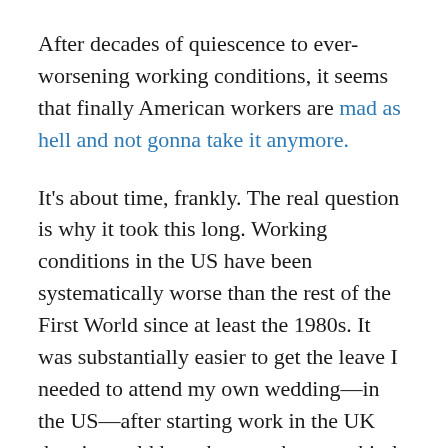After decades of quiescence to ever-worsening working conditions, it seems that finally American workers are mad as hell and not gonna take it anymore.
It's about time, frankly. The real question is why it took this long. Working conditions in the US have been systematically worse than the rest of the First World since at least the 1980s. It was substantially easier to get the leave I needed to attend my own wedding—in the US—after starting work in the UK than it would have been at the same kind of job in the US, because UK law requires employers to grant leave from the day they start work, while US federal law and the law in many states doesn't